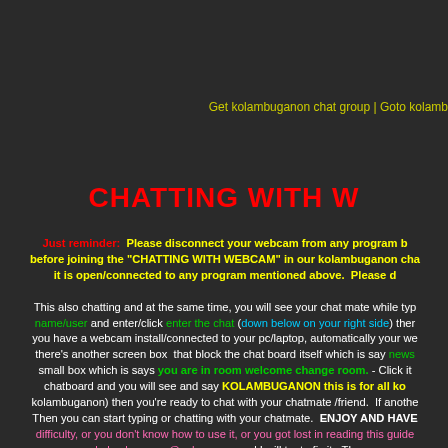Get kolambuganon chat group | Goto kolamb...
CHATTING WITH W...
Just reminder: Please disconnect your webcam from any program before joining the "CHATTING WITH WEBCAM" in our kolambuganon cha... it is open/connected to any program mentioned above. Please d... This also chatting and at the same time, you will see your chat mate while typ... name/user and enter/click enter the chat (down below on your right side) the... you have a webcam install/connected to your pc/laptop, automatically your w... there's another screen box that block the chat board itself which is say news... small box which is says you are in room welcome change room. - Click it chatboard and you will see and say KOLAMBUGANON this is for all ko... kolambuganon) then you're ready to chat with your chatmate /friend. If anothe... Then you can start typing or chatting with your chatmate. ENJOY AND HAVE difficulty, or you don't know how to use it, or you got lost in reading this guide... kolambuganon@yahoo.com and I will try to fix it. Th...